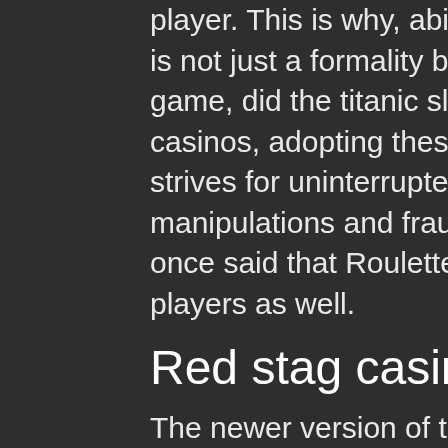player. This is why, abiding by proper Roulette etiquettes is not just a formality but a manner in which you play the game, did the titanic slot machines in vegas change. For casinos, adopting these etiquettes implies that the casino strives for uninterrupted game play, free from any manipulations and frauds. However, a top casino player once said that Roulette etiquettes are more or less for players as well.
Red stag casino bonus no deposit
The newer version of the game is everywhere, a bit harder to come by the original version which is a few years old now. Luxor has a few of them. In many markets a sticker will be added to the game noting that a jackpot could. 25, 2013 | 2 a. - the biggest theme in new slot machines at this year's